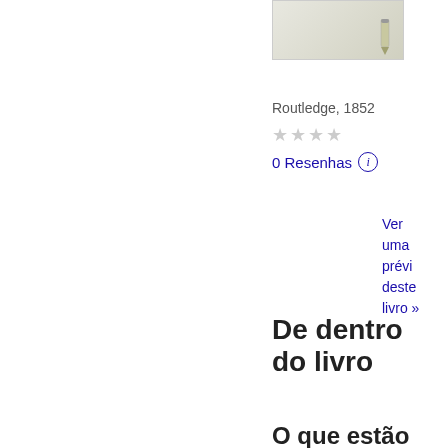[Figure (illustration): Small book cover thumbnail image with a quill/pen graphic]
William Shakespeare
Routledge, 1852
★★★★
0 Resenhas ⓘ
Ver uma prévia deste livro »
De dentro do livro
Pesquisar
O que estão